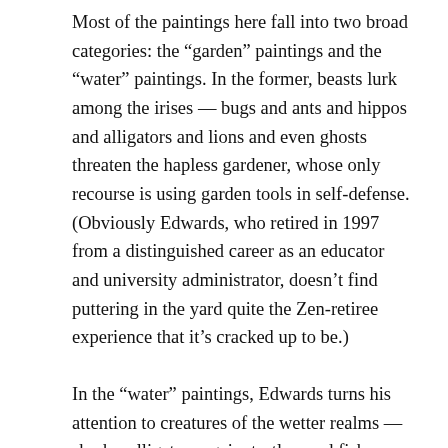Most of the paintings here fall into two broad categories: the “garden” paintings and the “water” paintings. In the former, beasts lurk among the irises — bugs and ants and hippos and alligators and lions and even ghosts threaten the hapless gardener, whose only recourse is using garden tools in self-defense. (Obviously Edwards, who retired in 1997 from a distinguished career as an educator and university administrator, doesn’t find puttering in the yard quite the Zen-retiree experience that it’s cracked up to be.)
In the “water” paintings, Edwards turns his attention to creatures of the wetter realms — sharks, alligators again, turtles, and fish. Humans don’t fare well in these pictures. A human head slowly sinks among a colorful school of fish in Aquarium Floater, another head hangs in a condom-shaped net above circling sharks in Moroccan Dream, and a swimmer makes a tasty snack in Incident in the Shark Tank. In these works and in the garden paintings, the